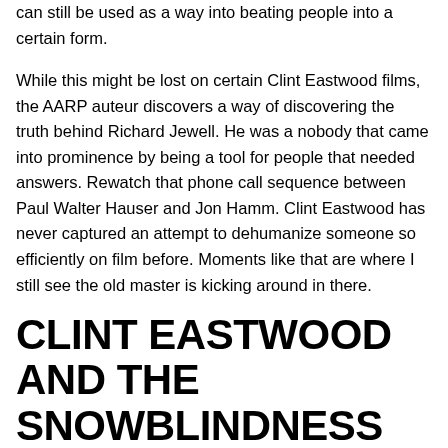can still be used as a way into beating people into a certain form.
While this might be lost on certain Clint Eastwood films, the AARP auteur discovers a way of discovering the truth behind Richard Jewell. He was a nobody that came into prominence by being a tool for people that needed answers. Rewatch that phone call sequence between Paul Walter Hauser and Jon Hamm. Clint Eastwood has never captured an attempt to dehumanize someone so efficiently on film before. Moments like that are where I still see the old master is kicking around in there.
CLINT EASTWOOD AND THE SNOWBLINDNESS